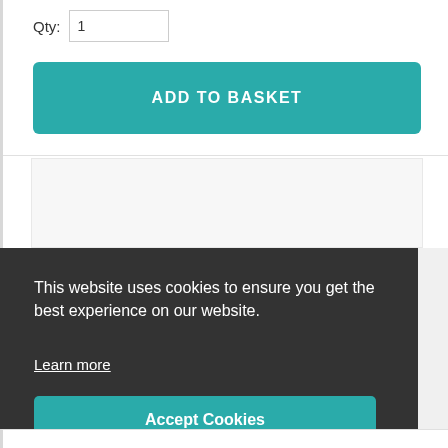Qty: 1
ADD TO BASKET
This website uses cookies to ensure you get the best experience on our website.
Learn more
Accept Cookies